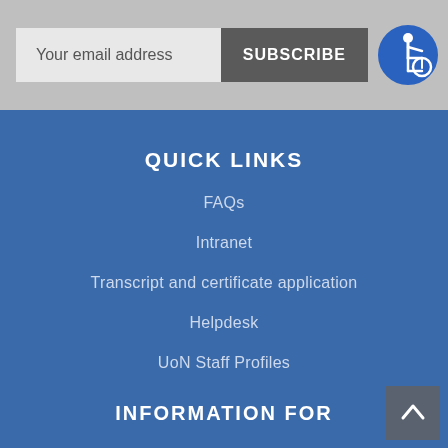Your email address
SUBSCRIBE
[Figure (illustration): Blue circle accessibility icon with wheelchair user symbol in white]
QUICK LINKS
FAQs
Intranet
Transcript and certificate application
Helpdesk
UoN Staff Profiles
INFORMATION FOR
Google Map
[Figure (illustration): Back to top button with upward arrow chevron on dark grey background]